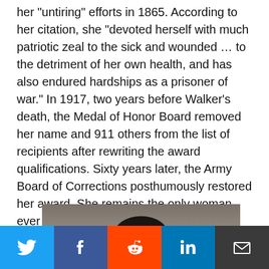her "untiring" efforts in 1865. According to her citation, she "devoted herself with much patriotic zeal to the sick and wounded ... to the detriment of her own health, and has also endured hardships as a prisoner of war." In 1917, two years before Walker's death, the Medal of Honor Board removed her name and 911 others from the list of recipients after rewriting the award qualifications. Sixty years later, the Army Board of Corrections posthumously restored her award. She remains the only woman ever to receive the Medal of Honor.
[Figure (photo): Black and white historical photograph of a woman, partially visible, cropped at the bottom of the page, with dark hair.]
Social sharing bar with Twitter, Facebook, Reddit, LinkedIn, and Email buttons